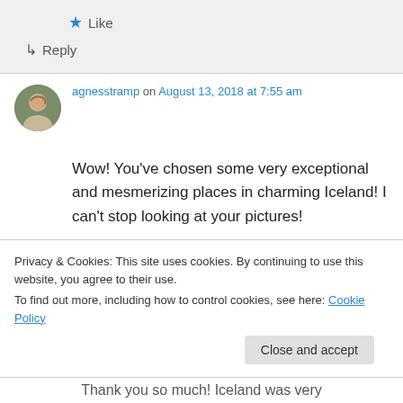★ Like
↳ Reply
agnesstramp on August 13, 2018 at 7:55 am
Wow! You've chosen some very exceptional and mesmerizing places in charming Iceland! I can't stop looking at your pictures!
★ Like
Privacy & Cookies: This site uses cookies. By continuing to use this website, you agree to their use.
To find out more, including how to control cookies, see here: Cookie Policy
Close and accept
Thank you so much! Iceland was very